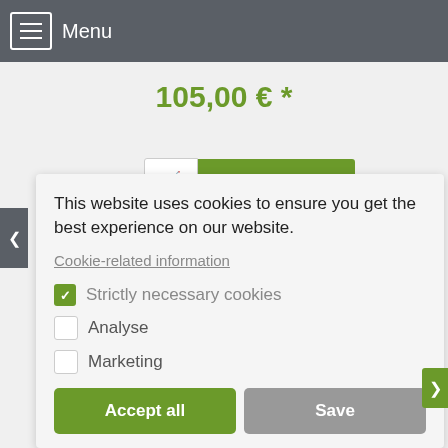Menu
105,00 € *
[Figure (screenshot): More information button with shopping cart icon]
This website uses cookies to ensure you get the best experience on our website.
Cookie-related information
Strictly necessary cookies
Analyse
Marketing
Accept all
Save
BRESSER Additional Lens 2.0 x